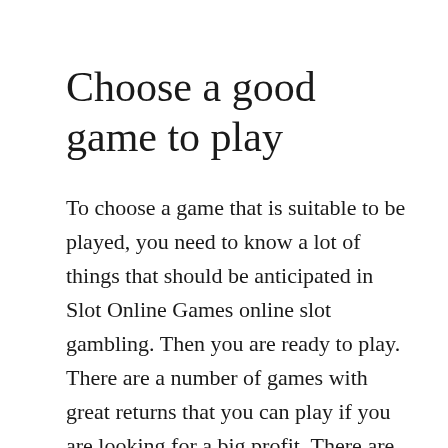Choose a good game to play
To choose a game that is suitable to be played, you need to know a lot of things that should be anticipated in Slot Online Games online slot gambling. Then you are ready to play. There are a number of games with great returns that you can play if you are looking for a big profit. There are a number of games that concentrate on entertaining, but